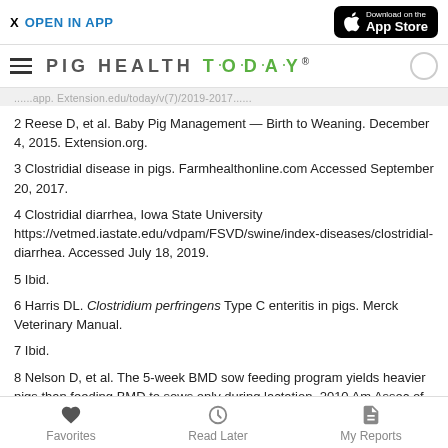X  OPEN IN APP | Download on the App Store
PIG HEALTH TODAY
...app. Extension.edu/today/v(7)/2019-2017...
2 Reese D, et al. Baby Pig Management — Birth to Weaning. December 4, 2015. Extension.org.
3 Clostridial disease in pigs. Farmhealthonline.com Accessed September 20, 2017.
4 Clostridial diarrhea, Iowa State University https://vetmed.iastate.edu/vdpam/FSVD/swine/index-diseases/clostridial-diarrhea. Accessed July 18, 2019.
5 Ibid.
6 Harris DL. Clostridium perfringens Type C enteritis in pigs. Merck Veterinary Manual.
7 Ibid.
8 Nelson D, et al. The 5-week BMD sow feeding program yields heavier pigs than feeding BMD to sows only during lactation. 2010 Am Assoc of Swine Vet annual meeting.
Favorites   Read Later   My Reports